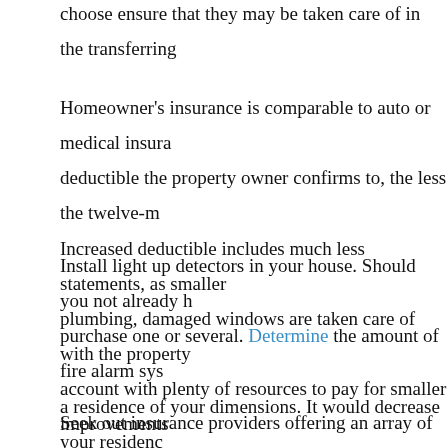choose ensure that they may be taken care of in the transferring...
Homeowner's insurance is comparable to auto or medical insura... deductible the property owner confirms to, the less the twelve-m... Increased deductible includes much less statements, as smaller... plumbing, damaged windows are taken care of with the property... account with plenty of resources to pay for smaller improvements... coverage will not likely pay for.
Install light up detectors in your house. Should you not already h... purchase one or several. Determine the amount of fire alarm sys... a residence of your dimensions. It would decrease your residenc... coverage high quality and help with keeping you safe in case the...
Seek out insurance providers offering an array of insurance plan...